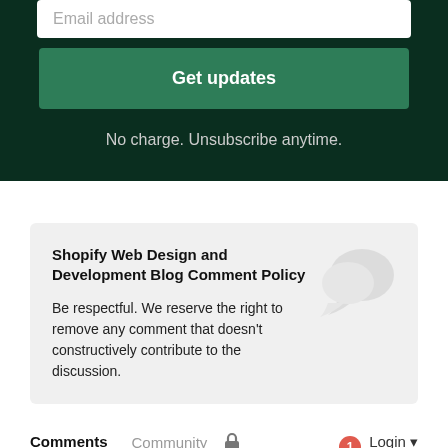Email address
Get updates
No charge. Unsubscribe anytime.
Shopify Web Design and Development Blog Comment Policy
Be respectful. We reserve the right to remove any comment that doesn't constructively contribute to the discussion.
Comments  Community  Login
Favorite  Sort by Best